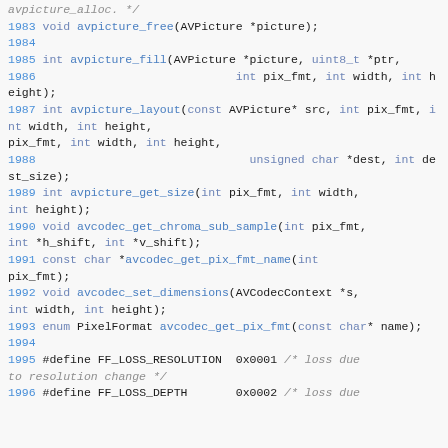avpicture_alloc. */
1983 void avpicture_free(AVPicture *picture);
1984
1985 int avpicture_fill(AVPicture *picture, uint8_t *ptr,
1986                             int pix_fmt, int width, int height);
1987 int avpicture_layout(const AVPicture* src, int pix_fmt, int width, int height,
1988                               unsigned char *dest, int dest_size);
1989 int avpicture_get_size(int pix_fmt, int width, int height);
1990 void avcodec_get_chroma_sub_sample(int pix_fmt, int *h_shift, int *v_shift);
1991 const char *avcodec_get_pix_fmt_name(int pix_fmt);
1992 void avcodec_set_dimensions(AVCodecContext *s, int width, int height);
1993 enum PixelFormat avcodec_get_pix_fmt(const char* name);
1994
1995 #define FF_LOSS_RESOLUTION  0x0001 /* loss due to resolution change */
1996 #define FF_LOSS_DEPTH       0x0002 /* loss due